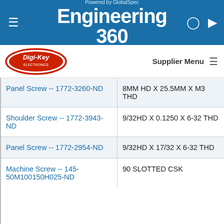Powered by GlobalSpec - Engineering 360
[Figure (logo): Digi-Key Electronics logo with red oval and white text]
Supplier Menu
| Product | Description |
| --- | --- |
| Panel Screw -- 1772-3260-ND | 8MM HD X 25.5MM X M3 THD |
| Shoulder Screw -- 1772-3943-ND | 9/32HD X 0.1250 X 6-32 THD |
| Panel Screw -- 1772-2954-ND | 9/32HD X 17/32 X 6-32 THD |
| Machine Screw -- 145-50M100150H025-ND | 90 SLOTTED CSK |
GlobalSpec websites place cookies on your device to give you the best user experience. By using our websites, you agree to the placement of these cookies. To learn more, read our Privacy Policy
Accept & Close